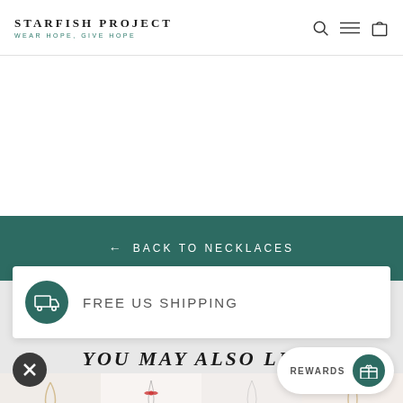STARFISH PROJECT — WEAR HOPE, GIVE HOPE
BACK TO NECKLACES
FREE US SHIPPING
YOU MAY ALSO LIKE
[Figure (photo): Product thumbnail images of necklaces in a row]
REWARDS